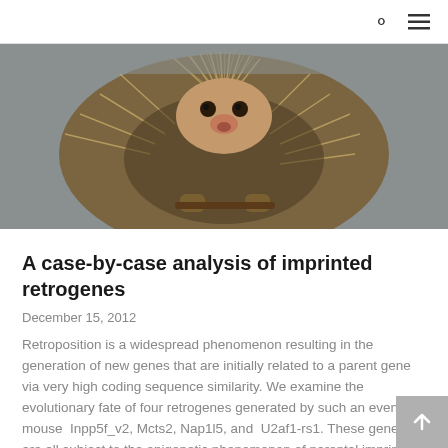search and menu icons
[Figure (photo): Close-up photo of a small spiny animal (porcupine or hedgehog-like rodent) with brown and grey spines, holding a stick, photographed from slightly above against a grey background.]
A case-by-case analysis of imprinted retrogenes
December 15, 2012
Retroposition is a widespread phenomenon resulting in the generation of new genes that are initially related to a parent gene via very high coding sequence similarity. We examine the evolutionary fate of four retrogenes generated by such an event; mouse  Inpp5f_v2, Mcts2, Nap1l5, and  U2af1-rs1. These genes are all subject to the epigenetic phenomenon of parental imprinting. We first…